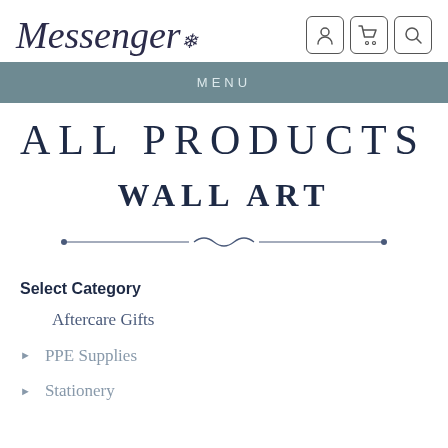Messenger (logo with bird icon)
MENU
ALL PRODUCTS
WALL ART
[Figure (illustration): Decorative horizontal divider with ornamental scroll design in center]
Select Category
Aftercare Gifts
PPE Supplies
Stationery